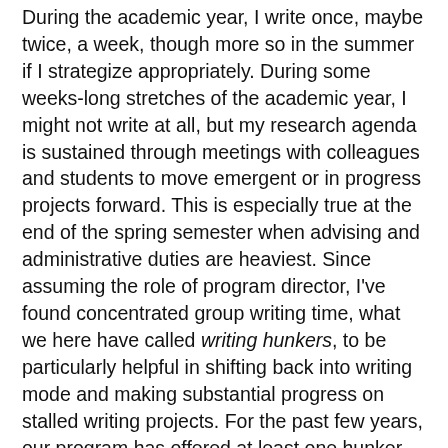During the academic year, I write once, maybe twice, a week, though more so in the summer if I strategize appropriately. During some weeks-long stretches of the academic year, I might not write at all, but my research agenda is sustained through meetings with colleagues and students to move emergent or in progress projects forward. This is especially true at the end of the spring semester when advising and administrative duties are heaviest. Since assuming the role of program director, I've found concentrated group writing time, what we here have called writing hunkers, to be particularly helpful in shifting back into writing mode and making substantial progress on stalled writing projects. For the past few years, our program has offered at least one hunker per summer for students with faculty leads and participants.
What are writing hunkers? Simply, these are concentrated writing days dedicated to the process of preparing